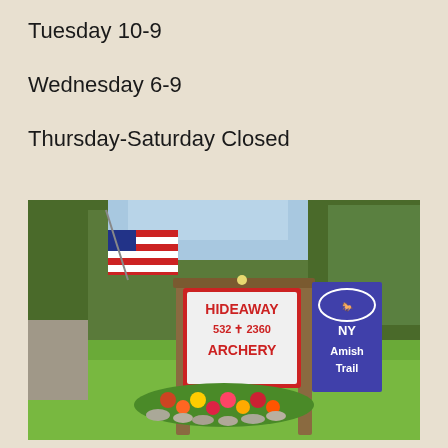Tuesday 10-9
Wednesday 6-9
Thursday-Saturday Closed
[Figure (photo): Outdoor sign for Hideaway Archery showing phone number 532-2360, with an American flag and a NY Amish Trail banner, surrounded by flower beds and green lawn.]